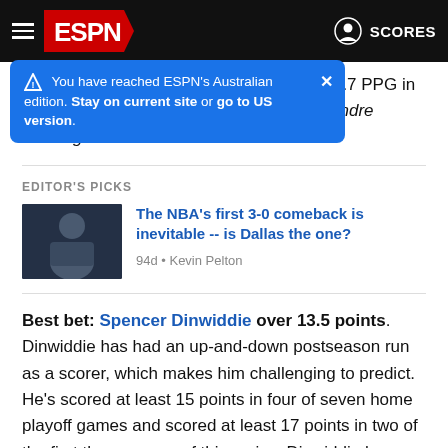ESPN - SCORES
You have reached ESPN's Australian edition. Stay on current site or go to US version.
...as in Game 3, but have only averaged 101.7 PPG in road games over the past two rounds. -- Andre Snellings
EDITOR'S PICKS
[Figure (photo): Thumbnail photo of a basketball player (Luka Doncic) in dark uniform]
The NBA's first 3-0 comeback is inevitable -- is Dallas the one?
94d • Kevin Pelton
Best bet: Spencer Dinwiddie over 13.5 points. Dinwiddie has had an up-and-down postseason run as a scorer, which makes him challenging to predict. He's scored at least 15 points in four of seven home playoff games and scored at least 17 points in two of the first three games of this series. Dinwiddie has